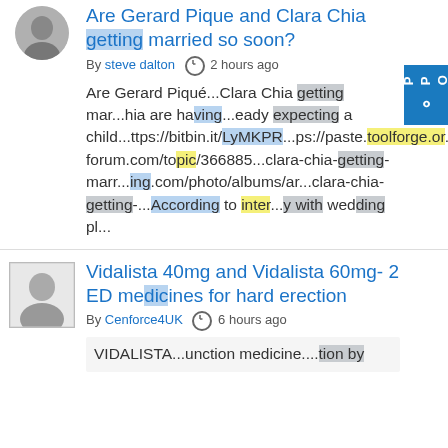Are Gerard Pique and Clara Chia getting married so soon?
By steve dalton  2 hours ago
Are Gerard Piqué...Clara Chia getting mar...hia are having...eady expecting a child...ttps://bitbin.it/LyMKPR...ps://paste.toolforge.or...ps://pastelink.net/tsis...-forum.com/topic/366885...clara-chia-getting-marr...ing.com/photo/albums/ar...clara-chia-getting-...According to inter...y with wedding pl...
Vidalista 40mg and Vidalista 60mg- 2 ED medicines for hard erection
By Cenforce4UK  6 hours ago
VIDALISTA...unction medicine....tion by